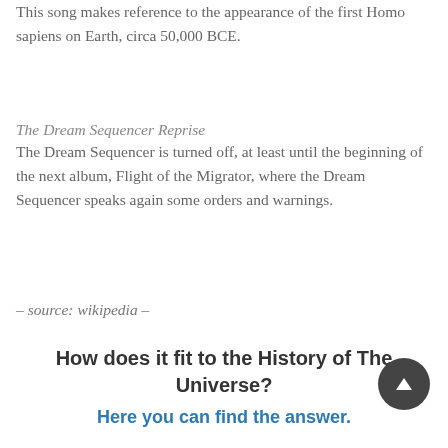This song makes reference to the appearance of the first Homo sapiens on Earth, circa 50,000 BCE.
The Dream Sequencer Reprise
The Dream Sequencer is turned off, at least until the beginning of the next album, Flight of the Migrator, where the Dream Sequencer speaks again some orders and warnings.
– source: wikipedia –
How does it fit to the History of The Universe?
Here you can find the answer.